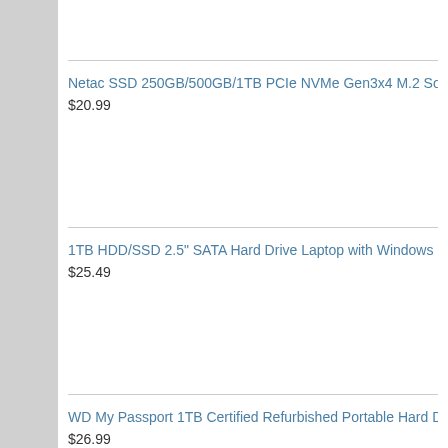Netac SSD 250GB/500GB/1TB PCIe NVMe Gen3x4 M.2 Solid State...
$20.99
1TB HDD/SSD 2.5" SATA Hard Drive Laptop with Windows 10 Pro In...
$25.49
WD My Passport 1TB Certified Refurbished Portable Hard Drive Red...
$26.99
Contact Us  Knoppix Foru...
All times are GMT +1. The time now is 08:4...